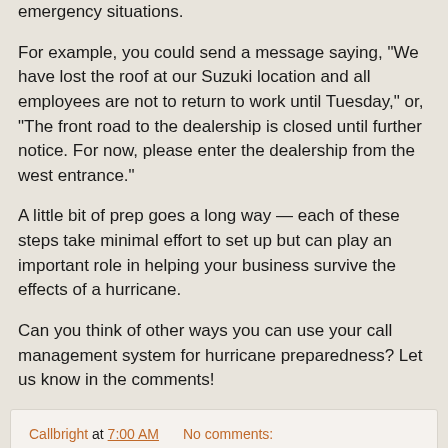emergency situations.
For example, you could send a message saying, "We have lost the roof at our Suzuki location and all employees are not to return to work until Tuesday," or, "The front road to the dealership is closed until further notice. For now, please enter the dealership from the west entrance."
A little bit of prep goes a long way — each of these steps take minimal effort to set up but can play an important role in helping your business survive the effects of a hurricane.
Can you think of other ways you can use your call management system for hurricane preparedness? Let us know in the comments!
Callbright at 7:00 AM   No comments:
Share
Monday, May 11, 2015